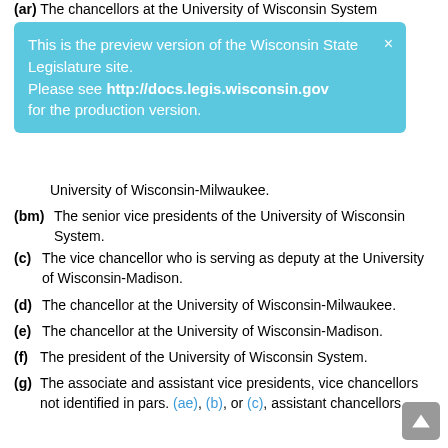(ar) The chancellors at the University of Wisconsin System [truncated]
[Figure (infographic): Preview version notification banner for Wisconsin State Legislature site, with link to http://docs.legis.wisconsin.gov and close button.]
(c-partial) University of Wisconsin-Milwaukee.
(bm) The senior vice presidents of the University of Wisconsin System.
(c) The vice chancellor who is serving as deputy at the University of Wisconsin-Madison.
(d) The chancellor at the University of Wisconsin-Milwaukee.
(e) The chancellor at the University of Wisconsin-Madison.
(f) The president of the University of Wisconsin System.
(g) The associate and assistant vice presidents, vice chancellors not identified in pars. (ae), (b), or (c), assistant chancellors, associate and assistant vice chancellors, and administrative directors and associate directors of physical plant, general operations and services, and auxiliary enterprises activities or their equivalent, of each University of Wisconsin institution, the University of Wisconsin-Extension, and the University of Wisconsin System administration.
(4) The personnel systems developed under subs. (2) and (3) s[truncated] include a civil service system, a grievance procedure that [truncated]